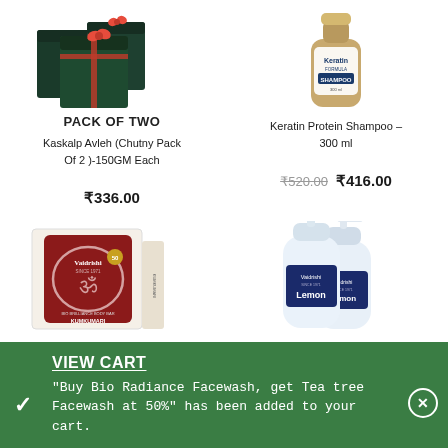[Figure (photo): Product image of Kaskalp Avleh Chutny Pack of Two - dark green boxes with red bow decorations]
[Figure (photo): Product image of Keratin Protein Shampoo 300ml - amber-colored bottle with white label]
PACK OF TWO
Kaskalp Avleh (Chutny Pack Of 2 )-150GM Each
Keratin Protein Shampoo – 300 ml
₹336.00
₹520.00  ₹416.00
[Figure (photo): Vaidrishi Bio Brilliance Body Bar Kumkumari product in red and white box]
[Figure (photo): Two Vaidrishi Lemon hand wash/gel pump bottles with dark blue labels]
VIEW CART
"Buy Bio Radiance Facewash, get Tea tree Facewash at 50%" has been added to your cart.